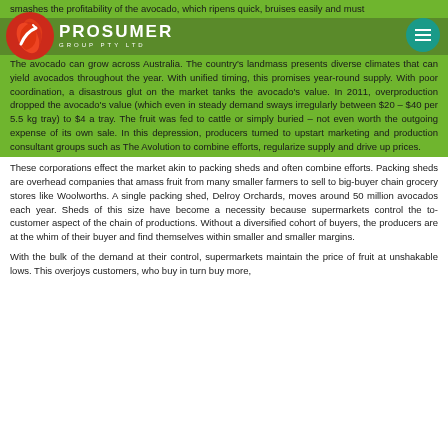smashes the profitability of the avocado, which ripens quick, bruises easily and must
[Figure (logo): Prosumer Group Pty Ltd logo with red leaf/arrow icon and white text on green background]
The avocado can grow across Australia. The country's landmass presents diverse climates that can yield avocados throughout the year. With unified timing, this promises year-round supply. With poor coordination, a disastrous glut on the market tanks the avocado's value. In 2011, overproduction dropped the avocado's value (which even in steady demand sways irregularly between $20 – $40 per 5.5 kg tray) to $4 a tray. The fruit was fed to cattle or simply buried – not even worth the outgoing expense of its own sale. In this depression, producers turned to upstart marketing and production consultant groups such as The Avolution to combine efforts, regularize supply and drive up prices.
These corporations effect the market akin to packing sheds and often combine efforts. Packing sheds are overhead companies that amass fruit from many smaller farmers to sell to big-buyer chain grocery stores like Woolworths. A single packing shed, Delroy Orchards, moves around 50 million avocados each year. Sheds of this size have become a necessity because supermarkets control the to-customer aspect of the chain of productions. Without a diversified cohort of buyers, the producers are at the whim of their buyer and find themselves within smaller and smaller margins.
With the bulk of the demand at their control, supermarkets maintain the price of fruit at unshakable lows. This overjoys customers, who buy in turn buy more,